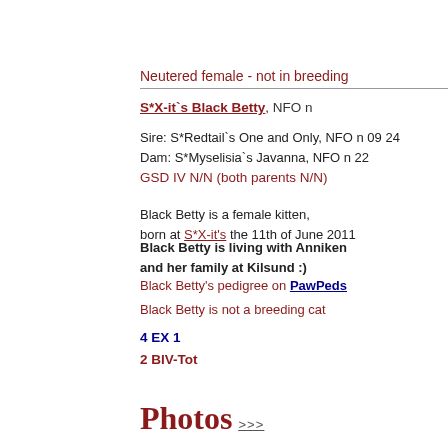Neutered female - not in breeding
S*X-it`s Black Betty, NFO n
Sire: S*Redtail`s One and Only, NFO n 09 24
Dam: S*Myselisia`s Javanna, NFO n 22
GSD IV N/N (both parents N/N)
Black Betty is a female kitten, born at S*X-it's the 11th of June 2011
Black Betty is living with Anniken and her family at Kilsund :)
Black Betty's pedigree on PawPeds
Black Betty is not a breeding cat
4 EX 1
2 BIV-Tot
Photos >>>